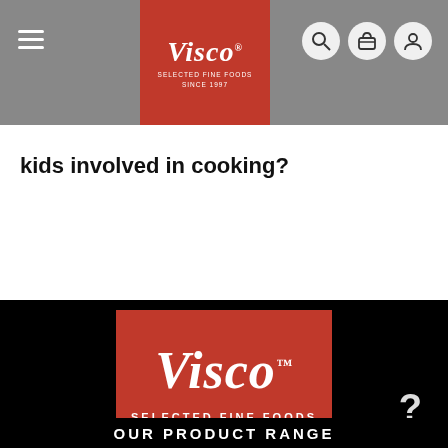[Figure (logo): Visco Selected Fine Foods logo in red box on grey navigation bar]
kids involved in cooking?
[Figure (logo): Visco Selected Fine Foods logo - red square with white script Visco text, SELECTED FINE FOODS SINCE 1997]
OUR PRODUCT RANGE